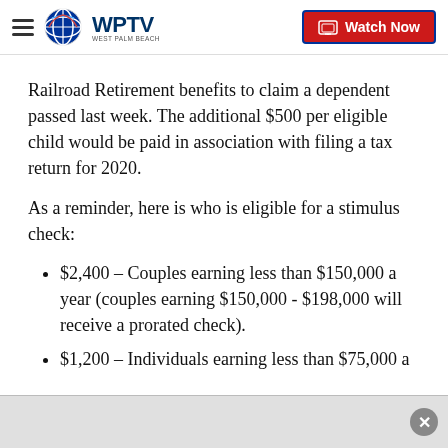WPTV — Watch Now
Railroad Retirement benefits to claim a dependent passed last week. The additional $500 per eligible child would be paid in association with filing a tax return for 2020.
As a reminder, here is who is eligible for a stimulus check:
$2,400 – Couples earning less than $150,000 a year (couples earning $150,000 - $198,000 will receive a prorated check).
$1,200 – Individuals earning less than $75,000 a